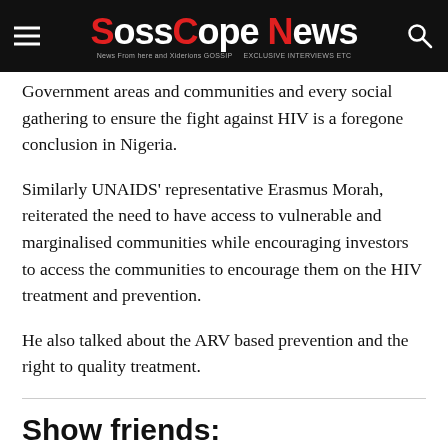SossCope News
Government areas and communities and every social gathering to ensure the fight against HIV is a foregone conclusion in Nigeria.
Similarly UNAIDS’ representative Erasmus Morah, reiterated the need to have access to vulnerable and marginalised communities while encouraging investors to access the communities to encourage them on the HIV treatment and prevention.
He also talked about the ARV based prevention and the right to quality treatment.
Show friends: